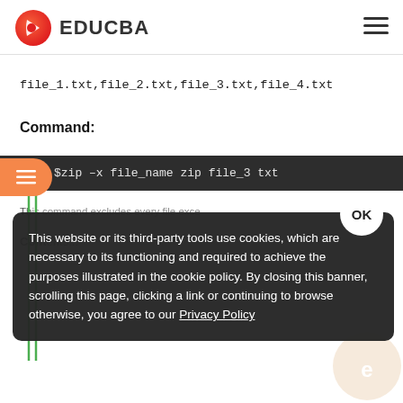[Figure (logo): EDUCBA logo with red/orange play-button icon and EDUCBA text in bold]
file_1.txt,file_2.txt,file_3.txt,file_4.txt
Command:
[Figure (screenshot): Dark terminal/code block showing: $zip -x file_name zip file_3 txt]
This website or its third-party tools use cookies, which are necessary to its functioning and required to achieve the purposes illustrated in the cookie policy. By closing this banner, scrolling this page, clicking a link or continuing to browse otherwise, you agree to our Privacy Policy